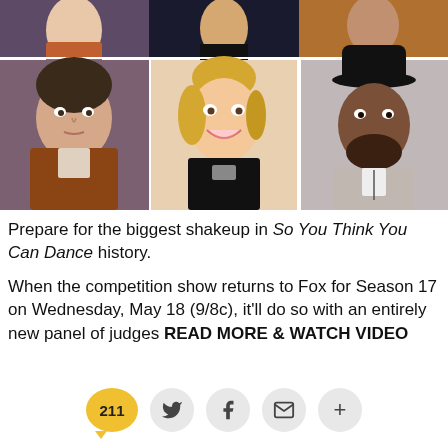[Figure (photo): Grid of celebrity photos: top row shows partial images of three people; bottom row shows three judges - a man in a brown jacket, a blonde young woman smiling, and a man in a black hat and gray suit]
Prepare for the biggest shakeup in So You Think You Can Dance history.
When the competition show returns to Fox for Season 17 on Wednesday, May 18 (9/8c), it'll do so with an entirely new panel of judges READ MORE & WATCH VIDEO
[Figure (infographic): Social sharing bar with comment count 211 (yellow bubble), Twitter bird icon, Facebook f icon, email envelope icon, and plus icon — all on light gray circular buttons]